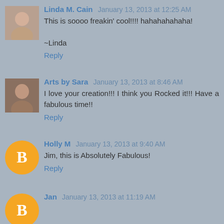Linda M. Cain — January 13, 2013 at 12:25 AM
This is soooo freakin' cool!!!! hahahahahaha!

~Linda
Reply
Arts by Sara — January 13, 2013 at 8:46 AM
I love your creation!!! I think you Rocked it!!! Have a fabulous time!!
Reply
Holly M — January 13, 2013 at 9:40 AM
Jim, this is Absolutely Fabulous!
Reply
Jan — January 13, 2013 at 11:19 AM